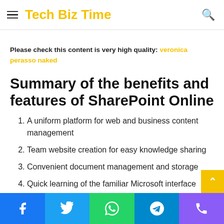Tech Biz Time
Please check this content is very high quality: veronica perasso naked
Summary of the benefits and features of SharePoint Online
A uniform platform for web and business content management
Team website creation for easy knowledge sharing
Convenient document management and storage
Quick learning of the familiar Microsoft interface